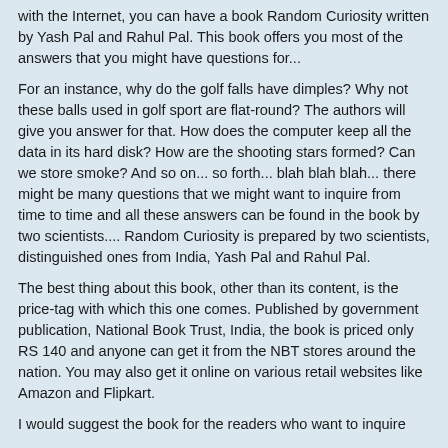with the Internet, you can have a book Random Curiosity written by Yash Pal and Rahul Pal. This book offers you most of the answers that you might have questions for...
For an instance, why do the golf falls have dimples? Why not these balls used in golf sport are flat-round? The authors will give you answer for that. How does the computer keep all the data in its hard disk? How are the shooting stars formed? Can we store smoke? And so on... so forth... blah blah blah... there might be many questions that we might want to inquire from time to time and all these answers can be found in the book by two scientists.... Random Curiosity is prepared by two scientists, distinguished ones from India, Yash Pal and Rahul Pal.
The best thing about this book, other than its content, is the price-tag with which this one comes. Published by government publication, National Book Trust, India, the book is priced only RS 140 and anyone can get it from the NBT stores around the nation. You may also get it online on various retail websites like Amazon and Flipkart.
I would suggest the book for the readers who want to inquire